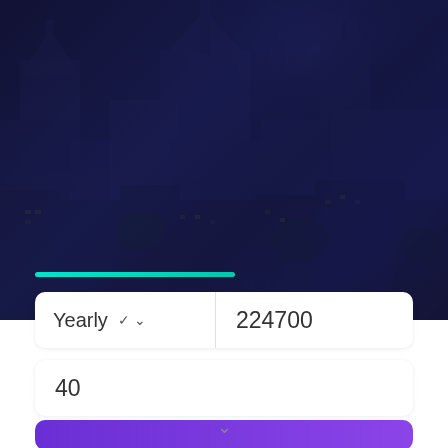[Figure (photo): Aerial/elevated view of a historic European city skyline at dusk with a dark navy blue overlay. Rooftops, churches, and buildings visible through the tinted overlay.]
Yearly  224700
40